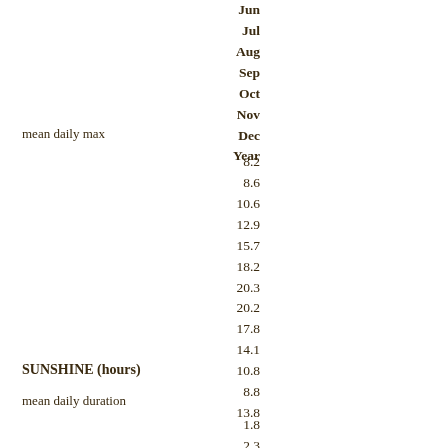| Month | mean daily max | mean daily duration |
| --- | --- | --- |
| Jun |  |  |
| Jul | 8.2 | 1.8 |
| Aug | 8.6 | 2.3 |
| Sep | 10.6 | 3.2 |
| Oct | 12.9 | 4.9 |
| Nov | 15.7 | 5.6 |
| Dec | 18.2 |  |
| Year | 20.3 |  |
|  | 20.2 |  |
|  | 17.8 |  |
|  | 14.1 |  |
|  | 10.8 |  |
|  | 8.8 |  |
|  | 13.8 |  |
SUNSHINE (hours)
mean daily duration